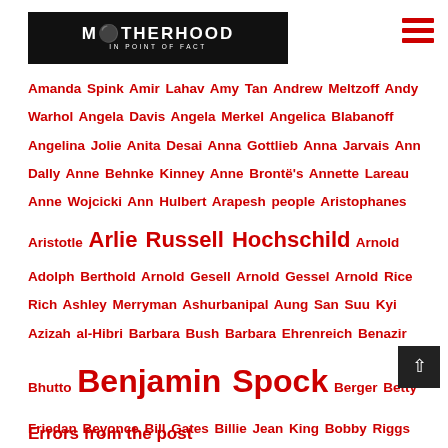MOTHERHOOD IN POINT OF FACT
Amanda Spink Amir Lahav Amy Tan Andrew Meltzoff Andy Warhol Angela Davis Angela Merkel Angelica Blabanoff Angelina Jolie Anita Desai Anna Gottlieb Anna Jarvais Ann Dally Anne Behnke Kinney Anne Brontë's Annette Lareau Anne Wojcicki Ann Hulbert Arapesh people Aristophanes Aristotle Arlie Russell Hochschild Arnold Adolph Berthold Arnold Gesell Arnold Gessel Arnold Rice Rich Ashley Merryman Ashurbanipal Aung San Suu Kyi Azizah al-Hibri Barbara Bush Barbara Ehrenreich Benazir Bhutto Benjamin Spock Berger Betty Friedan Beyonce Bill Gates Billie Jean King Bobby Riggs Boudicca
Errors from the post